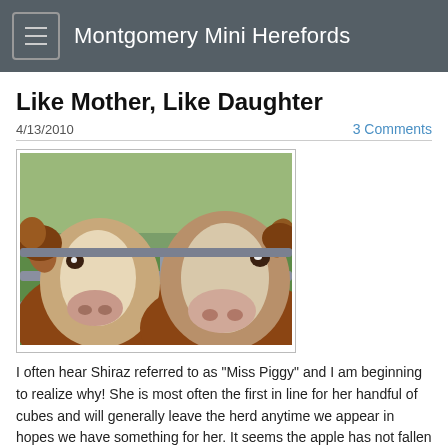Montgomery Mini Herefords
Like Mother, Like Daughter
4/13/2010
3 Comments
[Figure (photo): Two Hereford cows pressing their faces through a metal gate, looking directly at the camera. Green pasture and more cattle visible in the background.]
I often hear Shiraz referred to as "Miss Piggy" and I am beginning to realize why!  She is most often the first in line for her handful of cubes and will generally leave the herd anytime we appear in hopes we have something for her.  It seems the apple has not fallen far from the